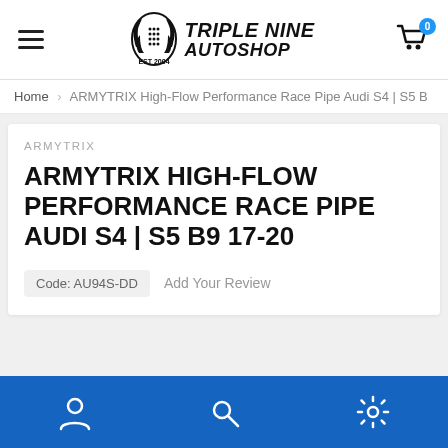Triple Nine Autoshop — EST 2004
Home › ARMYTRIX High-Flow Performance Race Pipe Audi S4 | S5 B
ARMYTRIX
ARMYTRIX HIGH-FLOW PERFORMANCE RACE PIPE AUDI S4 | S5 B9 17-20
Code: AU94S-DD   Add Your Review
Navigation bar: user, search, settings